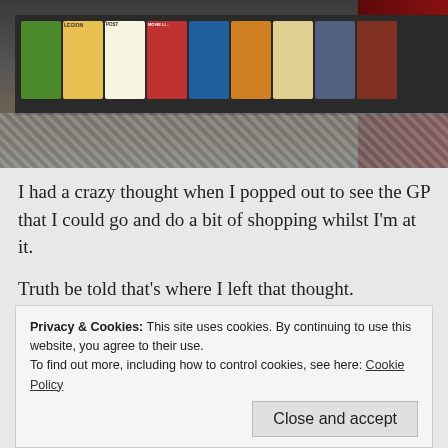[Figure (photo): Screenshot from a video game or virtual world showing a female character in a short outfit standing near a magazine/newsstand rack with various colorful magazine covers (Legion, Post, Movie Life, etc.), cobblestone-like floor, and a dark red wall in the background.]
I had a crazy thought when I popped out to see the GP that I could go and do a bit of shopping whilst I'm at it.
Truth be told that's where I left that thought.
Sitting in the crazy pile.
Privacy & Cookies: This site uses cookies. By continuing to use this website, you agree to their use.
To find out more, including how to control cookies, see here: Cookie Policy
Close and accept